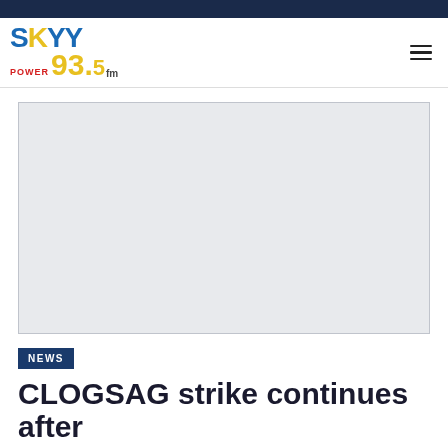SKYY Power 93.5 FM
[Figure (other): Advertisement placeholder box (gray rectangle)]
NEWS
CLOGSAG strike continues after